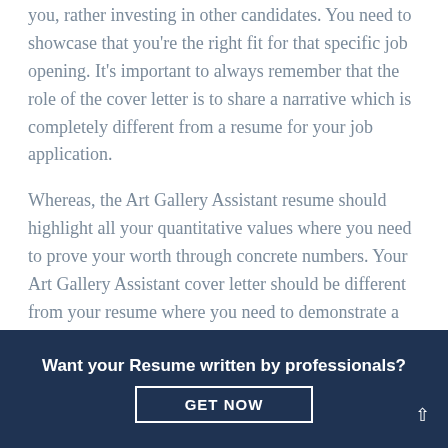why the recruiter should invest time in evaluating you, rather investing in other candidates. You need to showcase that you're the right fit for that specific job opening. It's important to always remember that the role of the cover letter is to share a narrative which is completely different from a resume for your job application.
Whereas, the Art Gallery Assistant resume should highlight all your quantitative values where you need to prove your worth through concrete numbers. Your Art Gallery Assistant cover letter should be different from your resume where you need to demonstrate a story about yourself in a way that your resume will never be able to do so.
Want your Resume written by professionals?
GET NOW